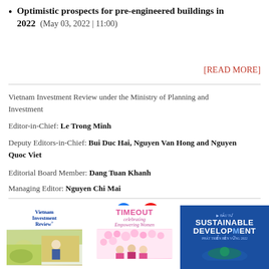Optimistic prospects for pre-engineered buildings in 2022  (May 03, 2022 | 11:00)
[READ MORE]
Vietnam Investment Review under the Ministry of Planning and Investment
Editor-in-Chief: Le Trong Minh
Deputy Editors-in-Chief: Bui Duc Hai, Nguyen Van Hong and Nguyen Quoc Viet
Editorial Board Member: Dang Tuan Khanh
Managing Editor: Nguyen Chi Mai
Advertisement  |  Contact us  |  [Facebook]  |  [YouTube]
Based on MasterCMS Ultimate Edition Ver 2.9 2021
[Figure (illustration): Three magazine covers: Vietnam Investment Review newspaper, Timeout Women magazine, and Sustainable Development publication]